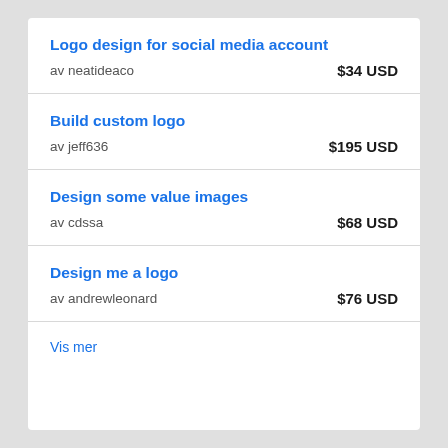Logo design for social media account
av neatideaco    $34 USD
Build custom logo
av jeff636    $195 USD
Design some value images
av cdssa    $68 USD
Design me a logo
av andrewleonard    $76 USD
Vis mer